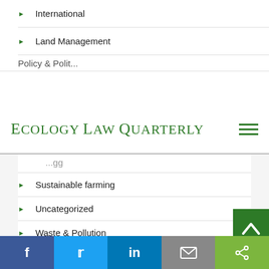International
Land Management
[Figure (logo): Ecology Law Quarterly logo in green serif font]
Sustainable farming
Uncategorized
Waste & Pollution
Water
NOTIFY ME